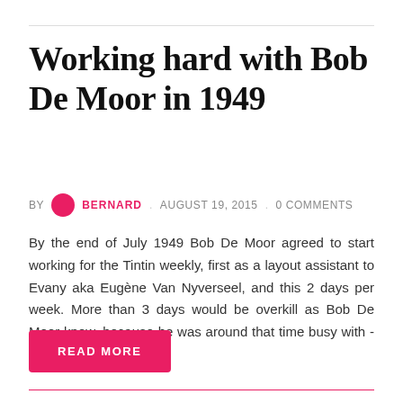Working hard with Bob De Moor in 1949
BY  BERNARD  .  AUGUST 19, 2015  .  0 COMMENTS
By the end of July 1949 Bob De Moor agreed to start working for the Tintin weekly, first as a layout assistant to Evany aka Eugène Van Nyverseel, and this 2 days per week. More than 3 days would be overkill as Bob De Moor knew, because he was around that time busy with - take a seat - 12
READ MORE